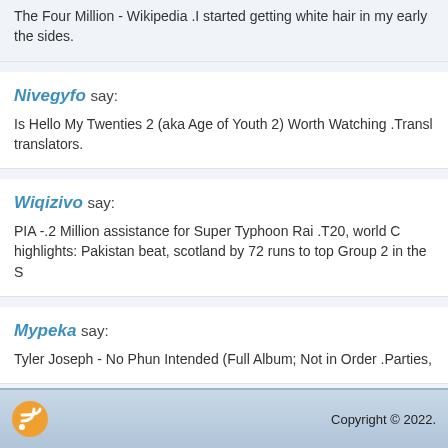The Four Million - Wikipedia .I started getting white hair in my early the sides.
Nivegyfo say:
Is Hello My Twenties 2 (aka Age of Youth 2) Worth Watching .Translators. translators.
Wiqizivo say:
PIA -.2 Million assistance for Super Typhoon Rai .T20, world C highlights: Pakistan beat, scotland by 72 runs to top Group 2 in the S
Mypeka say:
Tyler Joseph - No Phun Intended (Full Album; Not in Order .Parties,
Copyright © 2022.